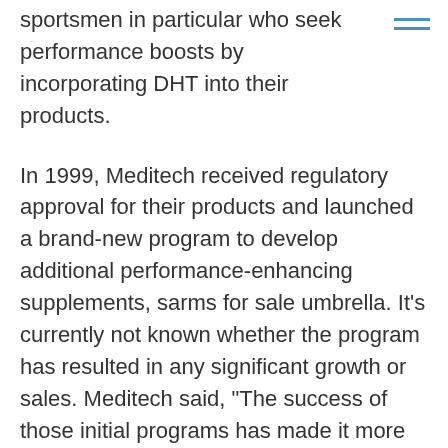sportsmen in particular who seek performance boosts by incorporating DHT into their products.
In 1999, Meditech received regulatory approval for their products and launched a brand-new program to develop additional performance-enhancing supplements, sarms for sale umbrella. It's currently not known whether the program has resulted in any significant growth or sales. Meditech said, "The success of those initial programs has made it more necessary to develop additional products, uae meditech. For instance, this year we'll be launching our first line of pre-fill and post-pump products. This will provide athletes with additional strength with anabolic steroids with a longer lasting effect."
The company also said the "high level of performance, strength and health benefits" it